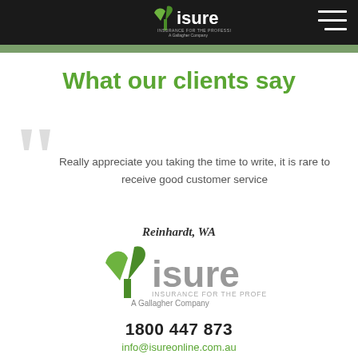Yisure – Insurance for the Professional, A Gallagher Company
What our clients say
Really appreciate you taking the time to write, it is rare to receive good customer service
Reinhardt, WA
[Figure (logo): Yisure logo – green leaf Y shape with 'isure' text, INSURANCE FOR THE PROFESSIONAL, A Gallagher Company]
1800 447 873
info@isureonline.com.au